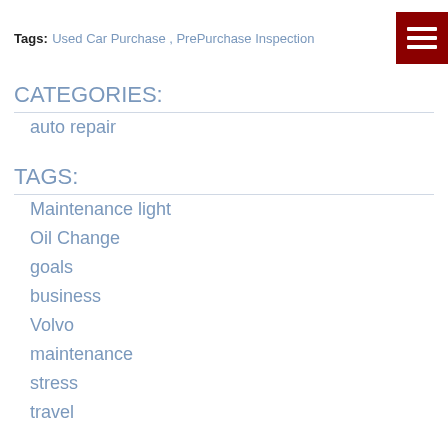Tags: Used Car Purchase , PrePurchase Inspection
CATEGORIES:
auto repair
TAGS:
Maintenance light
Oil Change
goals
business
Volvo
maintenance
stress
travel